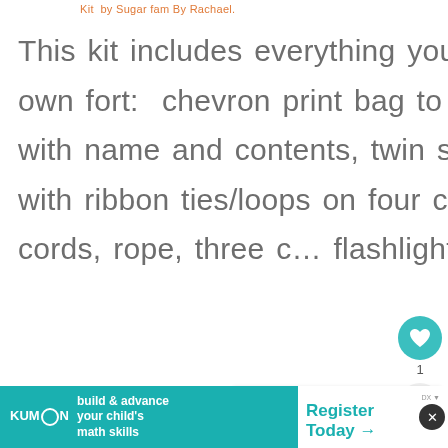Kit  by Sugar fam By Rachael.
This kit includes everything you need to create your own fort:  chevron print bag to hold everything, tag with name and contents, twin size shed cut in half with ribbon ties/loops on four corners, three bungee cords, rope, three c… flashlight, six clothespins, and
[Figure (infographic): Heart/like button (teal circle with heart icon) showing count of 1, and a share button (light circle with share icon)]
[Figure (infographic): What's Next panel showing a colorful thumbnail image and text 'WHAT'S NEXT → Favorite Slow Cooker...']
[Figure (infographic): Advertisement banner for KUMON: 'build & advance your child's math skills' on teal background, with 'Register Today →' on white right side, and a close button]